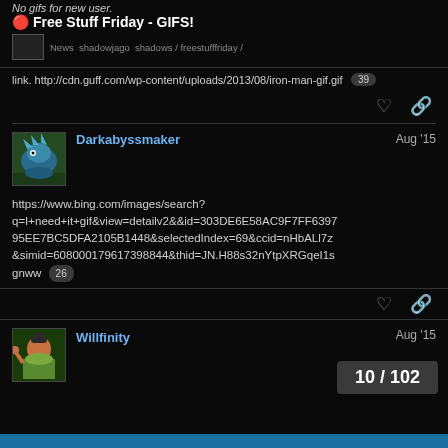No gifs for new user.
Free Stuff Friday - GIFS!
News shadowjago shadows / freestufffriday /
link. http://cdn.guff.com/wp-content/uploads/2013/08/iron-man-gif.gif 39
Darkabyssmaker Aug '15
https://www.bing.com/images/search?q=I+need+it+gif&view=detailv2&&id=303DE6E58AC9F7FF639795EE7BC5DFA2105B1448&selectedIndex=69&ccid=nHbALl7z&simid=608000179617398844&thid=JN.H88s32nYtpXRGqeI1sgnww 26
Willfinity Aug '15
10 / 102